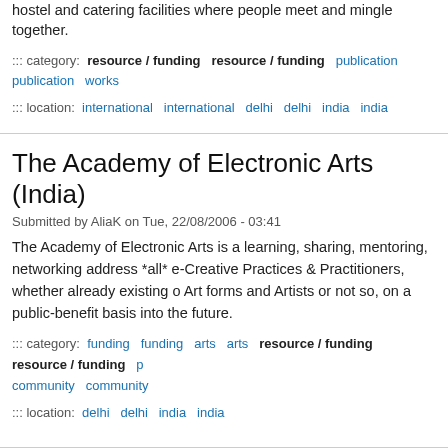hostel and catering facilities where people meet and mingle together.
::: category:  resource / funding  resource / funding  publication  publication  works
::: location:  international  international  delhi  delhi  india  india
The Academy of Electronic Arts (India)
Submitted by AliaK on Tue, 22/08/2006 - 03:41
The Academy of Electronic Arts is a learning, sharing, mentoring, networking address *all* e-Creative Practices & Practitioners, whether already existing o Art forms and Artists or not so, on a public-benefit basis into the future.
::: category:  funding  funding  arts  arts  resource / funding  resource / funding  p community  community
::: location:  delhi  delhi  india  india